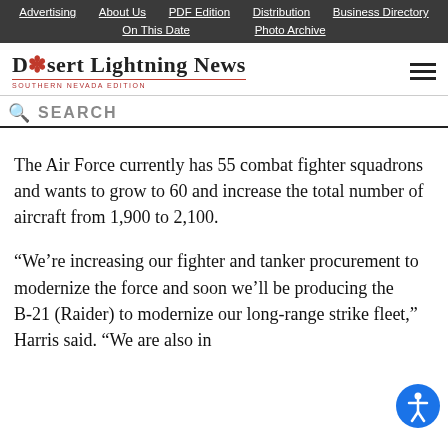Advertising | About Us | PDF Edition | Distribution | Business Directory | On This Date | Photo Archive
[Figure (logo): Desert Lightning News - Southern Nevada Edition logo with sun graphic]
SEARCH
The Air Force currently has 55 combat fighter squadrons and wants to grow to 60 and increase the total number of aircraft from 1,900 to 2,100.
“We’re increasing our fighter and tanker procurement to modernize the force and soon we’ll be producing the B-21 (Raider) to modernize our long-range strike fleet,” Harris said. “We are also in the process of modernizing our air-to-air